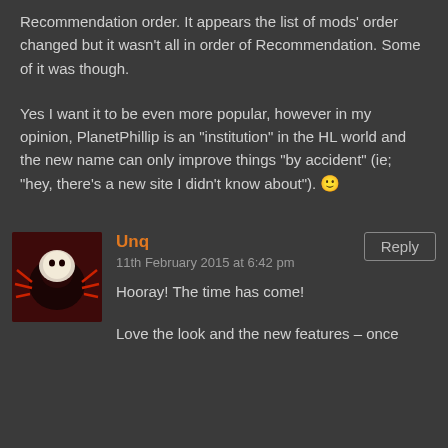Recommendation order. It appears the list of mods' order changed but it wasn't all in order of Recommendation. Some of it was though.
Yes I want it to be even more popular, however in my opinion, PlanetPhillip is an "institution" in the HL world and the new name can only improve things "by accident" (ie; "hey, there's a new site I didn't know about"). 🙂
[Figure (photo): Avatar image of user Unq, showing a spider-like creature on dark red background]
Unq
11th February 2015 at 6:42 pm
Hooray! The time has come!
Love the look and the new features – once